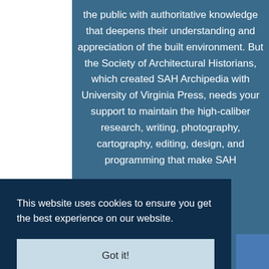the public with authoritative knowledge that deepens their understanding and appreciation of the built environment. But the Society of Architectural Historians, which created SAH Archipedia with University of Virginia Press, needs your support to maintain the high-caliber research, writing, photography, cartography, editing, design, and programming that make SAH
ilable to itage
This website uses cookies to ensure you get the best experience on our website.
Got it!